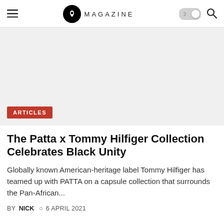MAGAZINE
[Figure (photo): Large article hero image placeholder with light gray background and red ARTICLES badge in bottom-left corner]
The Patta x Tommy Hilfiger Collection Celebrates Black Unity
Globally known American-heritage label Tommy Hilfiger has teamed up with PATTA on a capsule collection that surrounds the Pan-African...
BY NICK  6 APRIL 2021